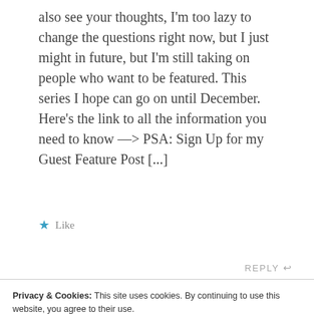also see your thoughts, I'm too lazy to change the questions right now, but I just might in future, but I'm still taking on people who want to be featured. This series I hope can go on until December. Here's the link to all the information you need to know —> PSA: Sign Up for my Guest Feature Post [...]
★ Like
REPLY ↩
Privacy & Cookies: This site uses cookies. By continuing to use this website, you agree to their use.
To find out more, including how to control cookies, see here: Cookie Policy
Close and accept
Parchment and Quill! – Bellbone says: